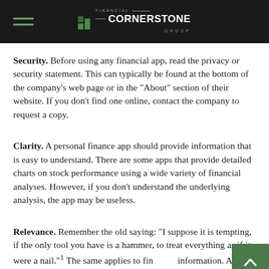Financial Cornerstone Group
Security. Before using any financial app, read the privacy or security statement. This can typically be found at the bottom of the company’s web page or in the “About” section of their website. If you don’t find one online, contact the company to request a copy.
Clarity. A personal finance app should provide information that is easy to understand. There are some apps that provide detailed charts on stock performance using a wide variety of financial analyses. However, if you don’t understand the underlying analysis, the app may be useless.
Relevance. Remember the old saying: “I suppose it is tempting, if the only tool you have is a hammer, to treat everything as if it were a nail.”¹ The same applies to financial information. A mutual fund company may be a great source